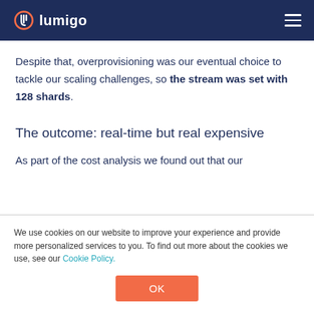lumigo
Despite that, overprovisioning was our eventual choice to tackle our scaling challenges, so the stream was set with 128 shards.
The outcome: real-time but real expensive
As part of the cost analysis we found out that our
We use cookies on our website to improve your experience and provide more personalized services to you. To find out more about the cookies we use, see our Cookie Policy.
OK